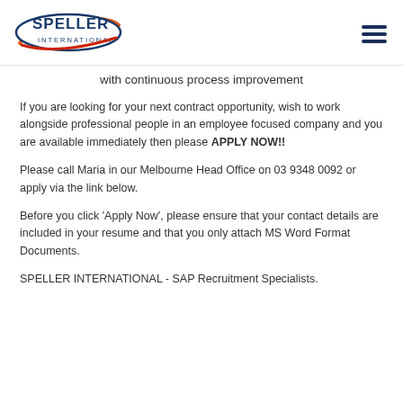[Figure (logo): Speller International logo with orange swoosh and blue text]
with continuous process improvement
If you are looking for your next contract opportunity, wish to work alongside professional people in an employee focused company and you are available immediately then please APPLY NOW!!
Please call Maria in our Melbourne Head Office on 03 9348 0092 or apply via the link below.
Before you click 'Apply Now', please ensure that your contact details are included in your resume and that you only attach MS Word Format Documents.
SPELLER INTERNATIONAL - SAP Recruitment Specialists.